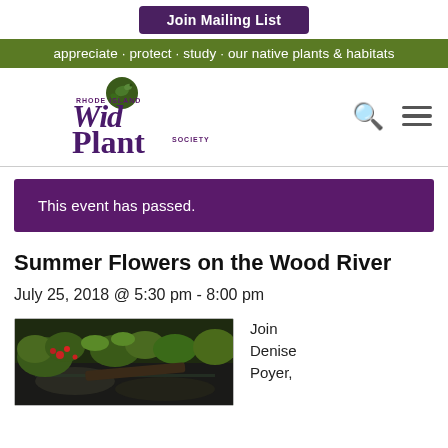Join Mailing List
appreciate · protect · study · our native plants & habitats
[Figure (logo): Rhode Island Wild Plant Society logo with illustrated bird/plant graphic and stylized typography]
This event has passed.
Summer Flowers on the Wood River
July 25, 2018 @ 5:30 pm - 8:00 pm
[Figure (photo): Photo of flowering plants and rocks near a river, with green foliage and red flowers]
Join Denise Poyer,